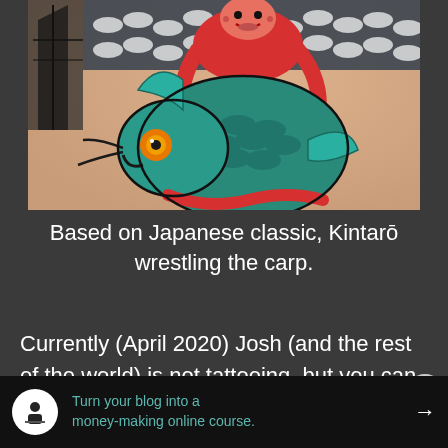[Figure (photo): Close-up photograph of a Japanese-style tattoo on skin, depicting Kintarō (a red-faced boy figure) wrestling a large teal/green carp fish with an orange eye, done in traditional Japanese tattooing style with bold outlines and vivid colors.]
Based on Japanese classic, Kintarō wrestling the carp.
Currently (April 2020) Josh (and the rest of the world) is not tattooing, but you can
[Figure (infographic): Advertisement banner with dark background. Icon of a person at a desk on white circle. Text: 'Turn your blog into a money-making online course.' with a right-arrow button.]